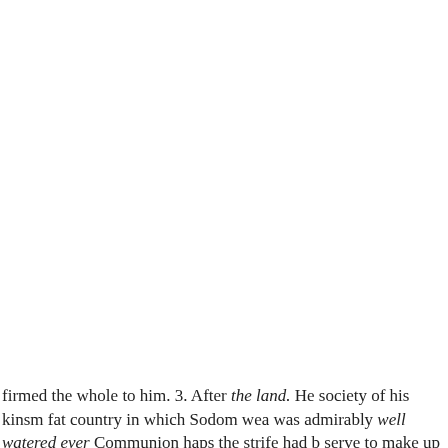expected, 1. That he should prepared for the visits of to part from Abram, and th sedate, and not ruffled with reluctancy. 2. That he s self-denying con- have remitted the choice ba peace ; it was then not any instance of deferen favour. Note, whole management. Abram peace, what we lose without compliment he acce When Abram had Passion and selfishness mal God came, and con- which Lot made, we may o
firmed the whole to him. 3. After the land. He society of his kinsm fat country in which Sodom wea was admirably well watered ever Communion haps the strife had b serve to make up the want of co